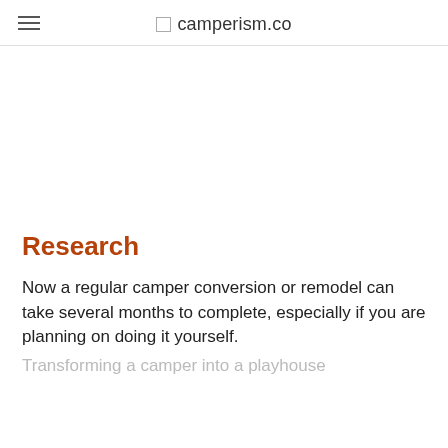camperism.co
Research
Now a regular camper conversion or remodel can take several months to complete, especially if you are planning on doing it yourself.
Transforming a camper into a playhouse